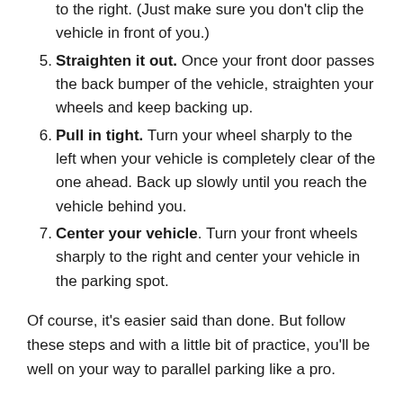to the right. (Just make sure you don't clip the vehicle in front of you.)
5. Straighten it out. Once your front door passes the back bumper of the vehicle, straighten your wheels and keep backing up.
6. Pull in tight. Turn your wheel sharply to the left when your vehicle is completely clear of the one ahead. Back up slowly until you reach the vehicle behind you.
7. Center your vehicle. Turn your front wheels sharply to the right and center your vehicle in the parking spot.
Of course, it's easier said than done. But follow these steps and with a little bit of practice, you'll be well on your way to parallel parking like a pro.